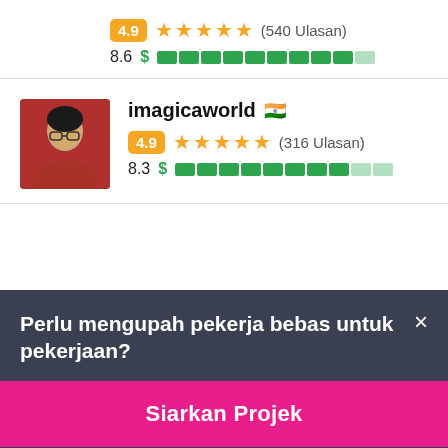4.9 ★★★★★ (540 Ulasan)
8.6 $ ██████████
[Figure (photo): Profile photo of imagicaworld user – person in red shirt with glasses]
imagicaworld 🇮🇳
4.9 ★★★★★ (316 Ulasan)
8.3 $ ████████
Perlu mengupah pekerja bebas untuk pekerjaan?
×
Siarkan Projek